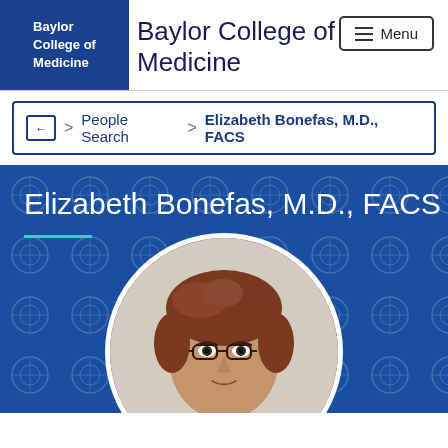[Figure (logo): Baylor College of Medicine logo — white text on navy blue background]
Baylor College of Medicine
People Search > Elizabeth Bonefas, M.D., FACS
Elizabeth Bonefas, M.D., FACS
[Figure (photo): Circular profile photo of Elizabeth Bonefas, M.D., FACS — a woman with short curly reddish-brown hair and glasses, wearing a dark top, against a light background]